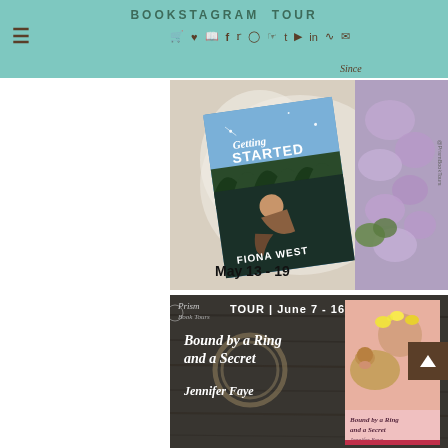BOOKSTAGRAM TOUR
[Figure (photo): Book cover for 'Getting Started' by Fiona West, shown on a white satin cloth with purple lilac flowers. The cover features an illustrated person sitting outdoors. Date reads May 13 - 19. Watermark: @PrismBookTours]
[Figure (photo): Promotional banner for 'Bound by a Ring and a Secret' by Jennifer Faye. Dark background with rustic wood texture, book cover showing a woman with a dog and flower crown. Tour dates: June 7 - 16. Prism Book Tours logo top left.]
[Figure (photo): Partial view of a third Prism Book Tours banner at the bottom of the page]